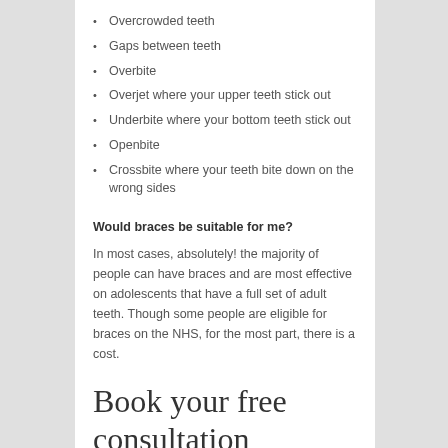Overcrowded teeth
Gaps between teeth
Overbite
Overjet where your upper teeth stick out
Underbite where your bottom teeth stick out
Openbite
Crossbite where your teeth bite down on the wrong sides
Would braces be suitable for me?
In most cases, absolutely! the majority of people can have braces and are most effective on adolescents that have a full set of adult teeth. Though some people are eligible for braces on the NHS, for the most part, there is a cost.
Book your free consultation